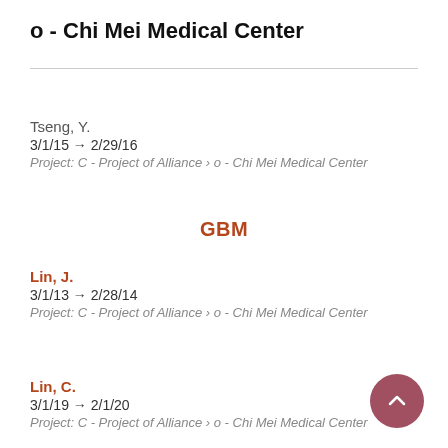o - Chi Mei Medical Center
Tseng, Y.
3/1/15 → 2/29/16
Project: C - Project of Alliance › o - Chi Mei Medical Center
GBM
Lin, J.
3/1/13 → 2/28/14
Project: C - Project of Alliance › o - Chi Mei Medical Center
Lin, C.
3/1/19 → 2/1/20
Project: C - Project of Alliance › o - Chi Mei Medical Center